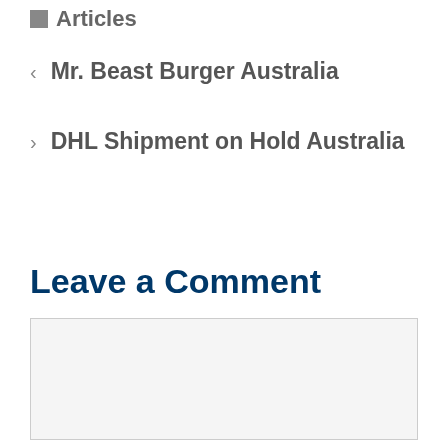Articles
Mr. Beast Burger Australia
DHL Shipment on Hold Australia
Leave a Comment